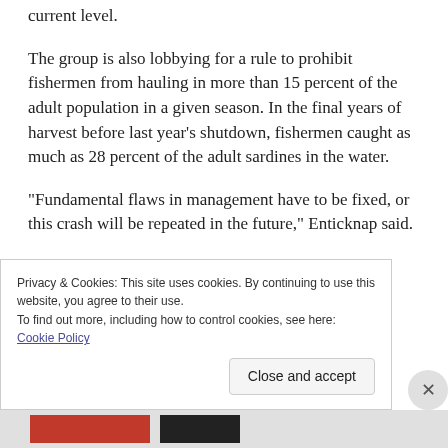current level.
The group is also lobbying for a rule to prohibit fishermen from hauling in more than 15 percent of the adult population in a given season. In the final years of harvest before last year’s shutdown, fishermen caught as much as 28 percent of the adult sardines in the water.
“Fundamental flaws in management have to be fixed, or this crash will be repeated in the future,” Enticknap said.
Privacy & Cookies: This site uses cookies. By continuing to use this website, you agree to their use.
To find out more, including how to control cookies, see here: Cookie Policy
Close and accept